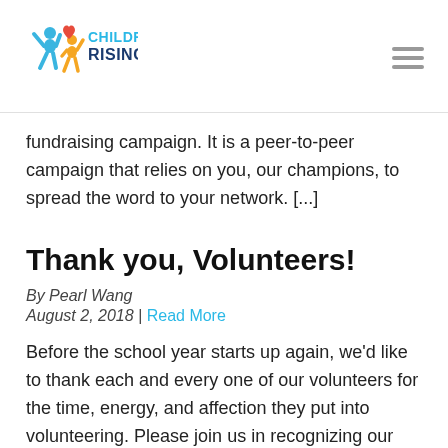[Figure (logo): Children Rising logo with two figures and a heart, text reads CHILDREN RISING in blue and teal]
fundraising campaign. It is a peer-to-peer campaign that relies on you, our champions, to spread the word to your network. [...]
Thank you, Volunteers!
By Pearl Wang
August 2, 2018 | Read More
Before the school year starts up again, we'd like to thank each and every one of our volunteers for the time, energy, and affection they put into volunteering. Please join us in recognizing our